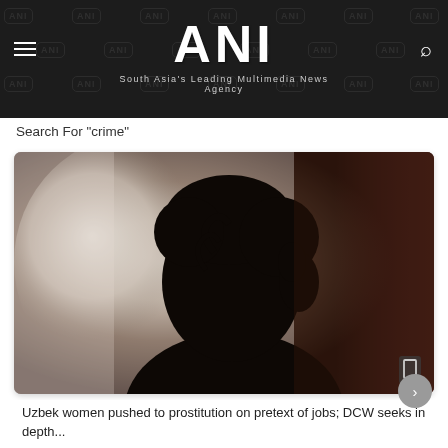ANI — South Asia's Leading Multimedia News Agency
Search For "crime"
[Figure (photo): Silhouette of a woman with curly hair against a bright window background, image used for illustrative/anonymity purposes in a news article about crime against women]
Uzbek women pushed to prostitution on pretext of jobs; DCW seeks in depth...